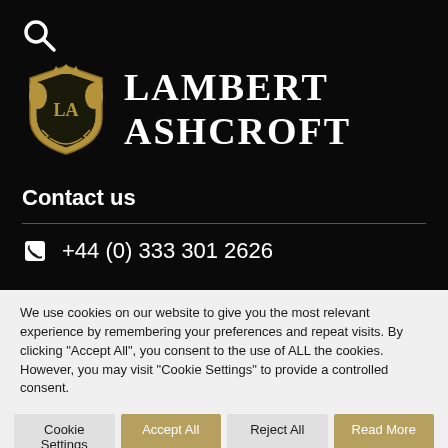[Figure (logo): Lambert Ashcroft heraldic crest logo with two lions, crown, and shield containing LA initials, in gold/dark gold color]
LAMBERT ASHCROFT
Contact us
+44 (0) 333 301 2626
We use cookies on our website to give you the most relevant experience by remembering your preferences and repeat visits. By clicking "Accept All", you consent to the use of ALL the cookies. However, you may visit "Cookie Settings" to provide a controlled consent.
Cookie Settings
Accept All
Reject All
Read More